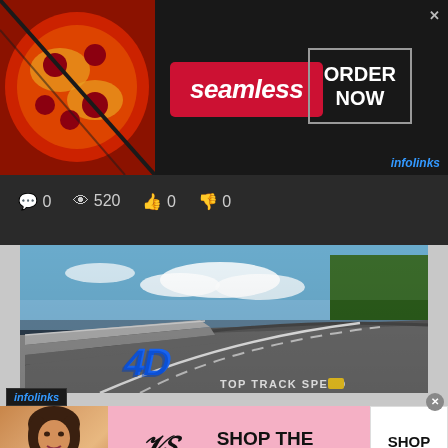[Figure (screenshot): Seamless food delivery advertisement banner with pizza image, red Seamless logo box, and ORDER NOW button on dark background]
0   520   0   0
[Figure (screenshot): Video game screenshot showing a racing track with blue speed logo and text TOP TRACK SPEED]
[Figure (screenshot): Victoria's Secret advertisement banner with model, VS logo, SHOP THE COLLECTION text, and SHOP NOW button on pink background]